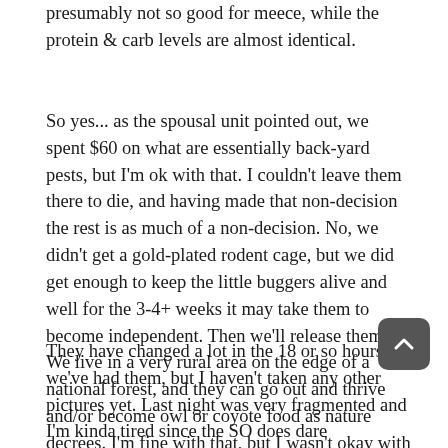presumably not so good for meece, while the protein & carb levels are almost identical.
So yes... as the spousal unit pointed out, we spent $60 on what are essentially back-yard pests, but I'm ok with that. I couldn't leave them there to die, and having made that non-decision the rest is as much of a non-decision. No, we didn't get a gold-plated rodent cage, but we did get enough to keep the little buggers alive and well for the 3-4+ weeks it may take them to become independent. Then we'll release them. We live in a very rural area on the edge of a national forest, and they can go out and thrive and/or become owl or coyote food as nature decrees. I'm fine with that, but I wasn't okay with letting them die on the concrete.
They have changed a lot in the 18 or so hours we've had them, but I haven't taken any other pictures yet. Last night was very fragmented and I'm kinda tired since the SO doesn't dare manipulate the babbies as they seem so delicate. They were 2-3 days old I think when we found them, so they'd had their colostum (which is good) and should have a reasonable